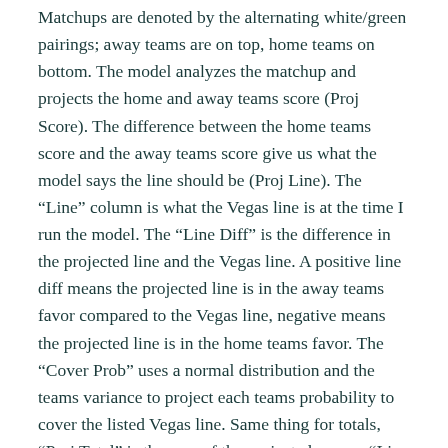Matchups are denoted by the alternating white/green pairings; away teams are on top, home teams on bottom. The model analyzes the matchup and projects the home and away teams score (Proj Score). The difference between the home teams score and the away teams score give us what the model says the line should be (Proj Line). The "Line" column is what the Vegas line is at the time I run the model. The "Line Diff" is the difference in the projected line and the Vegas line. A positive line diff means the projected line is in the away teams favor compared to the Vegas line, negative means the projected line is in the home teams favor. The "Cover Prob" uses a normal distribution and the teams variance to project each teams probability to cover the listed Vegas line. Same thing for totals, "Proj Total" is the sum of the projected scores, "Line Total" is the listed Vegas total for the game, the difference between the two, and the probability to go over or stay under denoted by "O" and "U".
Betting edge